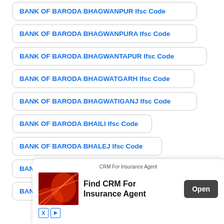BANK OF BARODA BHAGWANPUR Ifsc Code
BANK OF BARODA BHAGWANPURA Ifsc Code
BANK OF BARODA BHAGWANTAPUR Ifsc Code
BANK OF BARODA BHAGWATGARH Ifsc Code
BANK OF BARODA BHAGWATIGANJ Ifsc Code
BANK OF BARODA BHAILI Ifsc Code
BANK OF BARODA BHALEJ Ifsc Code
BANK OF BARODA BHALOD Ifsc Code
BANK OF BARODA BHANDARA Ifsc Code
[Figure (infographic): Advertisement overlay: CRM For Insurance Agent - Find CRM For Insurance Agent, with Open button]